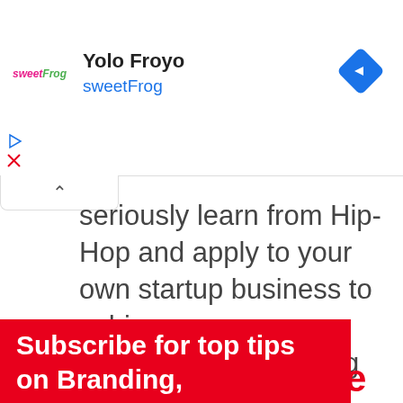[Figure (screenshot): Ad banner for Yolo Froyo / sweetFrog with logo, navigation icon, and ad controls]
seriously learn from Hip-Hop and apply to your own startup business to achieve your own success: The following 10 tips:
1. We started from the bottom now we
Subscribe for top tips on Branding,